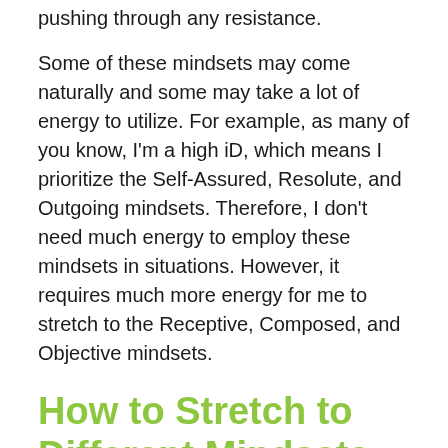pushing through any resistance.
Some of these mindsets may come naturally and some may take a lot of energy to utilize. For example, as many of you know, I'm a high iD, which means I prioritize the Self-Assured, Resolute, and Outgoing mindsets. Therefore, I don't need much energy to employ these mindsets in situations. However, it requires much more energy for me to stretch to the Receptive, Composed, and Objective mindsets.
How to Stretch to Different Mindsets
Different situations call for different mindsets. Of course, it's easier to identify situations that call for